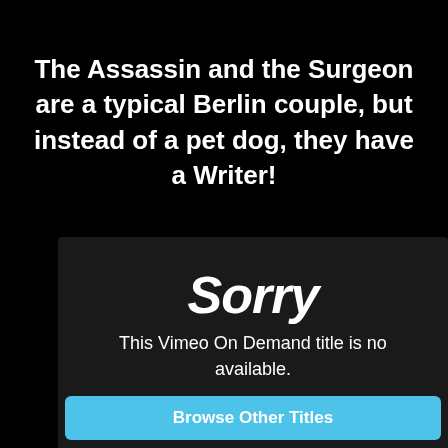The Assassin and the Surgeon are a typical Berlin couple, but instead of a pet dog, they have a Writer!
Sorry
This Vimeo On Demand title is no available.
Browse Other Titles